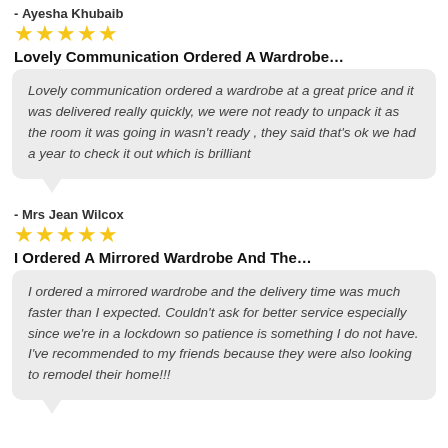- Ayesha Khubaib
★★★★★
Lovely Communication Ordered A Wardrobe…
Lovely communication ordered a wardrobe at a great price and it was delivered really quickly, we were not ready to unpack it as the room it was going in wasn't ready , they said that's ok we had a year to check it out which is brilliant
- Mrs Jean Wilcox
★★★★★
I Ordered A Mirrored Wardrobe And The…
I ordered a mirrored wardrobe and the delivery time was much faster than I expected. Couldn't ask for better service especially since we're in a lockdown so patience is something I do not have. I've recommended to my friends because they were also looking to remodel their home!!!